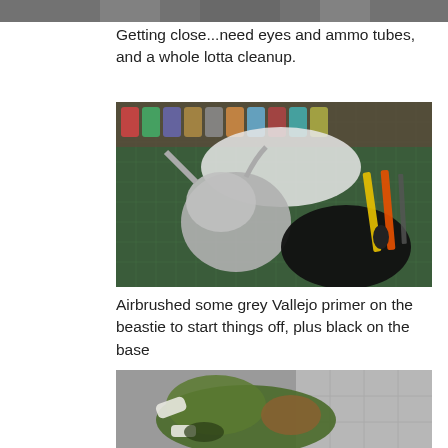[Figure (photo): Partial view of a miniature figure or hobby project on a work surface, cropped at top of page]
Getting close...need eyes and ammo tubes, and a whole lotta cleanup.
[Figure (photo): Unpainted grey-primed miniature creature/beastie on a green cutting mat alongside hobby tools and paint pots. A black oval base is visible on the right side.]
Airbrushed some grey Vallejo primer on the beastie to start things off, plus black on the base
[Figure (photo): Painted miniature creature with green and brown coloring, partially shown at bottom of page]